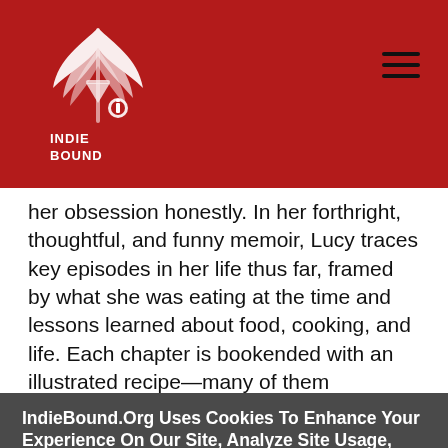IndieBound logo and navigation header
her obsession honestly. In her forthright, thoughtful, and funny memoir, Lucy traces key episodes in her life thus far, framed by what she was eating at the time and lessons learned about food, cooking, and life. Each chapter is bookended with an illustrated recipe—many of them treasured family dishes, and a
IndieBound.Org Uses Cookies To Enhance Your Experience On Our Site, Analyze Site Usage, And Assist In Our Marketing Efforts. By Clicking Accept, You Agree To The Storing Of Cookies On Your Device. View Our Cookie Policy.
Give me more info
Accept all Cookies